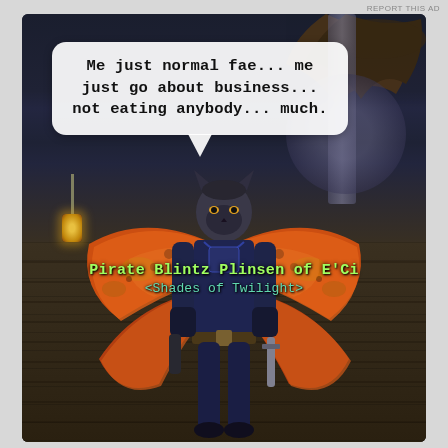REPORT THIS AD
[Figure (screenshot): EverQuest 2 video game screenshot showing a fae/cat-person character in blue armor with large orange butterfly wings, standing on wooden floor planks. A speech bubble reads: 'Me just normal fae... me just go about business... not eating anybody... much.' The character's name plate shows 'Pirate Blintz Plinsen of E'Ci' and guild '<Shades of Twilight>'.]